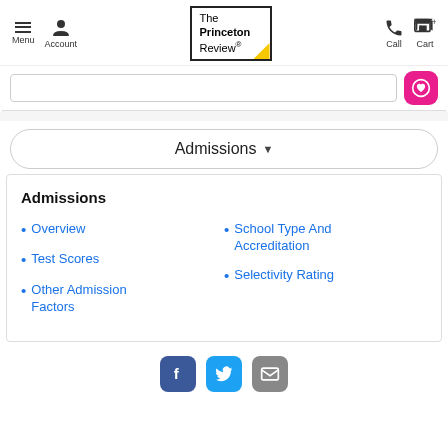Menu | Account | The Princeton Review | Call | Cart
[Figure (screenshot): Search bar with pink heart/favorites button]
Admissions ▼
Admissions
Overview
Test Scores
Other Admission Factors
School Type And Accreditation
Selectivity Rating
Facebook | Twitter | Email